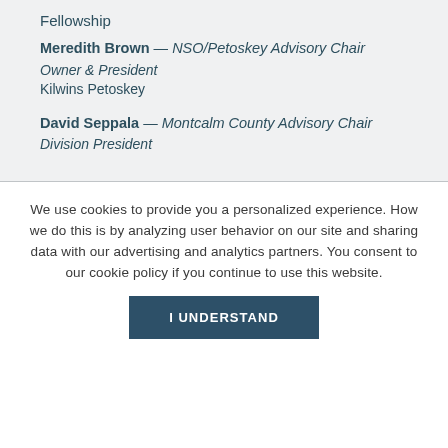Fellowship
Meredith Brown — NSO/Petoskey Advisory Chair
Owner & President
Kilwins Petoskey
David Seppala — Montcalm County Advisory Chair
Division President
We use cookies to provide you a personalized experience. How we do this is by analyzing user behavior on our site and sharing data with our advertising and analytics partners. You consent to our cookie policy if you continue to use this website.
I UNDERSTAND